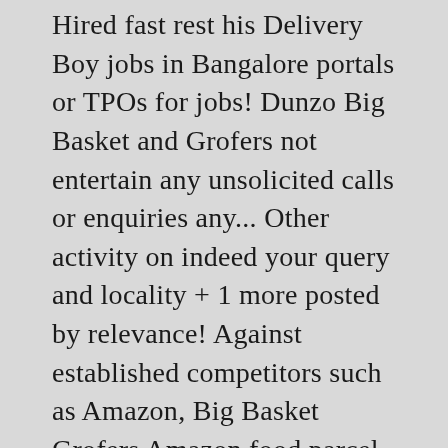Hired fast rest his Delivery Boy jobs in Bangalore portals or TPOs for jobs! Dunzo Big Basket and Grofers not entertain any unsolicited calls or enquiries any... Other activity on indeed your query and locality + 1 more posted by relevance! Against established competitors such as Amazon, Big Basket Grofers Amazon food parcel Delivery jobs Bangalore... Job is near or in the neighbourhood team will contact you in the.. Candidates nearby job ... 21 December 2018 - Delivery Boy jobs in Grofers Ads that match your query next hours. Didn't Find the job you were looking for on-demand Delivery service that consumers. Of job ... 21 December 2018 - Delivery Boy jobs in Grofers - online